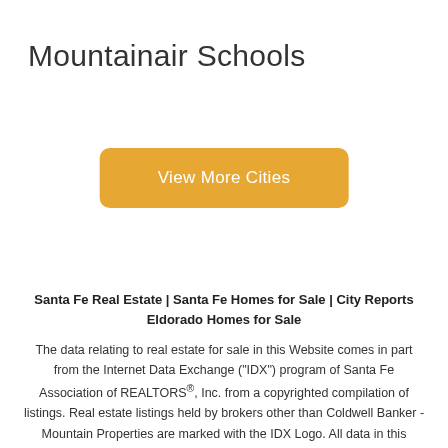Mountainair Schools
[Figure (other): Orange rounded button with text 'View More Cities']
Santa Fe Real Estate | Santa Fe Homes for Sale | City Reports
Eldorado Homes for Sale
The data relating to real estate for sale in this Website comes in part from the Internet Data Exchange ("IDX") program of Santa Fe Association of REALTORS®, Inc. from a copyrighted compilation of listings. Real estate listings held by brokers other than Coldwell Banker - Mountain Properties are marked with the IDX Logo. All data in this Website is deemed reliable but is not guaranteed accurate, and should be independently verified. The information provided is for consumers' personal, non-commercial use and may not be used for any purpose other than to identify prospective properties consumers may be interested in purchasing. All properties are subject to prior sale or withdrawal. All Rights